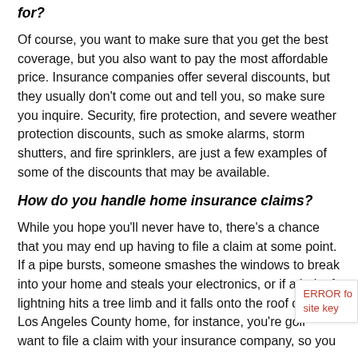for?
Of course, you want to make sure that you get the best coverage, but you also want to pay the most affordable price. Insurance companies offer several discounts, but they usually don't come out and tell you, so make sure you inquire. Security, fire protection, and severe weather protection discounts, such as smoke alarms, storm shutters, and fire sprinklers, are just a few examples of some of the discounts that may be available.
How do you handle home insurance claims?
While you hope you'll never have to, there's a chance that you may end up having to file a claim at some point. If a pipe bursts, someone smashes the windows to break into your home and steals your electronics, or if a bolt of lightning hits a tree limb and it falls onto the roof of your Los Angeles County home, for instance, you're going to want to file a claim with your insurance company, so you